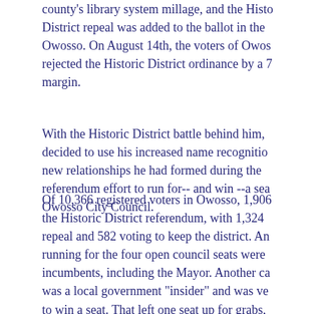county's library system millage, and the Historic District repeal was added to the ballot in the city of Owosso. On August 14th, the voters of Owosso rejected the Historic District ordinance by a 7... margin.
With the Historic District battle behind him, decided to use his increased name recognition and new relationships he had formed during the referendum effort to run for-- and win --a seat on the Owosso City Council.
Of 10,366 registered voters in Owosso, 1,906 voted in the Historic District referendum, with 1,324 voting to repeal and 582 voting to keep the district. Among running for the four open council seats were incumbents, including the Mayor. Another candidate was a local government "insider" and was very likely to win a seat. That left one seat up for grabs, with candidates fighting for it. We knew that we would need as many as 500 votes to win this seat.
Thanks to his hard work on the Historic District, Mark had a distinct advantage over most of the six candidates in terms of name recognition.